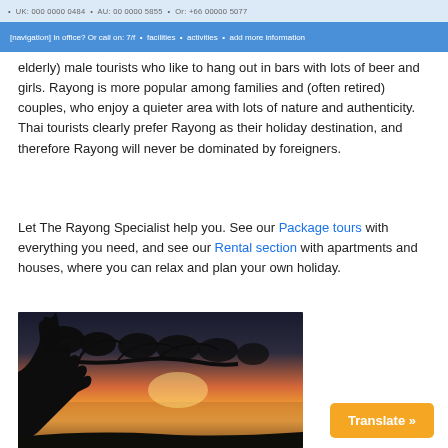UK: 000 0000 0484  AU: 00 0000 5855  Or: +66 00000 5077  [navigation bar with contact info and links]
elderly) male tourists who like to hang out in bars with lots of beer and girls. Rayong is more popular among families and (often retired) couples, who enjoy a quieter area with lots of nature and authenticity. Thai tourists clearly prefer Rayong as their holiday destination, and therefore Rayong will never be dominated by foreigners.
Let The Rayong Specialist help you. See our Package tours with everything you need, and see our Rental section with apartments and houses, where you can relax and plan your own holiday.
[Figure (screenshot): Facebook Like button widget with Sign Up link and text 'to see what your friends like.']
[Figure (photo): Silhouette of trees against a warm sunset sky with orange and golden hues over the sea, tropical beach scene.]
Translate »